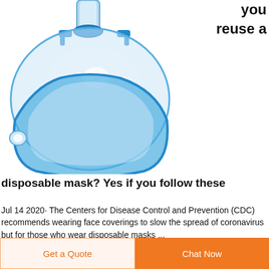you
reuse a
[Figure (photo): Close-up photo of a transparent blue-rimmed disposable oxygen/anaesthesia face mask with a clear dome and connector port at top.]
disposable mask? Yes if you follow these
Jul 14 2020· The Centers for Disease Control and Prevention (CDC) recommends wearing face coverings to slow the spread of coronavirus but for those who wear disposable masks ...
Get a Quote
Chat Now